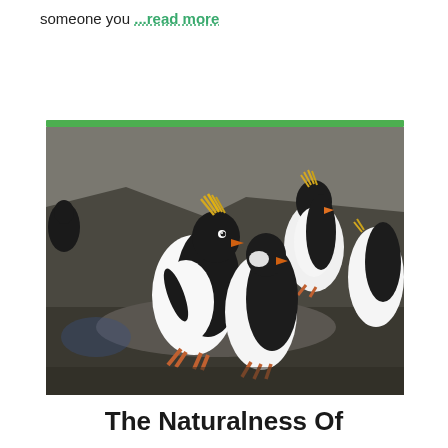someone you ...read more
[Figure (photo): Photograph of several Macaroni or Rockhopper penguins standing on rocky ground. Two penguins are prominently in the foreground — one leaning forward showing yellow crest feathers, another standing upright. A third penguin is visible in the background on the right.]
The Naturalness Of